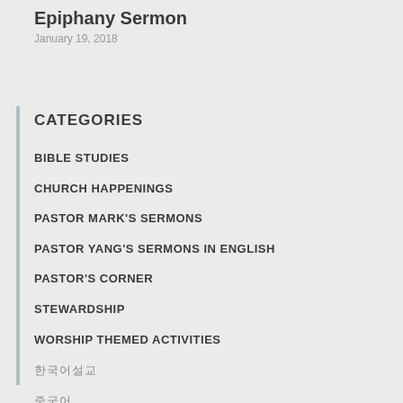Epiphany Sermon
January 19, 2018
CATEGORIES
BIBLE STUDIES
CHURCH HAPPENINGS
PASTOR MARK'S SERMONS
PASTOR YANG'S SERMONS IN ENGLISH
PASTOR'S CORNER
STEWARDSHIP
WORSHIP THEMED ACTIVITIES
한국어설교
중국어